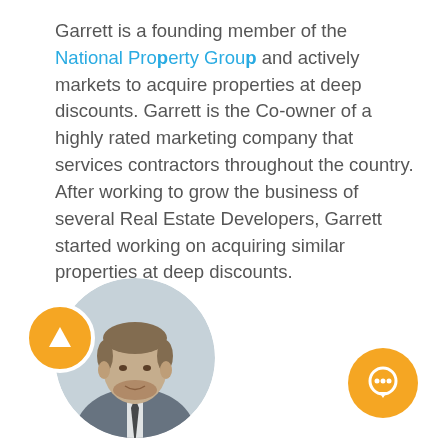Garrett is a founding member of the National Property Group and actively markets to acquire properties at deep discounts. Garrett is the Co-owner of a highly rated marketing company that services contractors throughout the country. After working to grow the business of several Real Estate Developers, Garrett started working on acquiring similar properties at deep discounts.
[Figure (photo): Circular headshot photo of a man in a suit and tie, with an orange upload/arrow button overlaid at the bottom left of the circle, and an orange chat button at the bottom right of the page.]